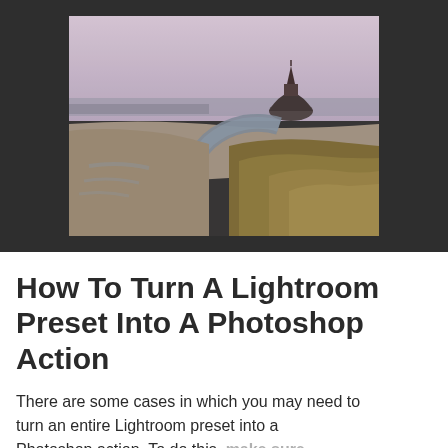[Figure (photo): Landscape photo of Mont Saint-Michel in France, showing tidal flats, a winding river channel, grassy marshland in the foreground, and the iconic abbey on a rocky island in the background under a pale sky.]
How To Turn A Lightroom Preset Into A Photoshop Action
There are some cases in which you may need to turn an entire Lightroom preset into a Photoshop action. To do this, make sure